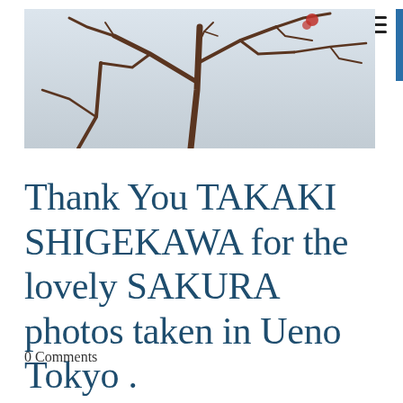[Figure (photo): Close-up photo of bare cherry tree branches against a pale grey-white sky, with a hint of a red blossom visible. Taken in Ueno Tokyo.]
Thank You TAKAKI SHIGEKAWA for the lovely SAKURA photos taken in Ueno Tokyo .
0 Comments